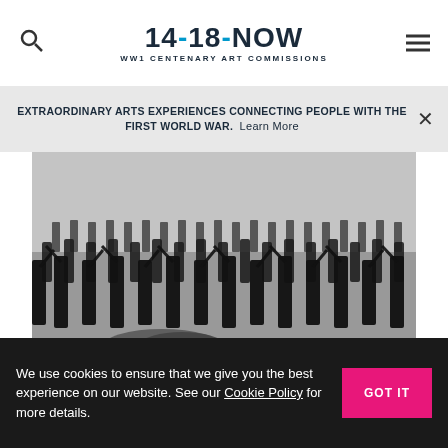14-18-NOW WW1 Centenary Art Commissions
EXTRAORDINARY ARTS EXPERIENCES CONNECTING PEOPLE WITH THE FIRST WORLD WAR. Learn More
[Figure (photo): Black and white photograph of rows of WWI soldiers performing synchronised drill exercise outdoors, arms raised, on open ground. A bundle of items lies in the foreground.]
We use cookies to ensure that we give you the best experience on our website. See our Cookie Policy for more details.